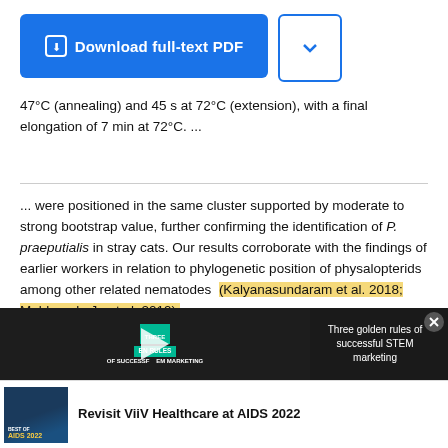[Figure (screenshot): Download full-text PDF button (blue) with dropdown arrow button]
47°C (annealing) and 45 s at 72°C (extension), with a final elongation of 7 min at 72°C. ...
... were positioned in the same cluster supported by moderate to strong bootstrap value, further confirming the identification of P. praeputialis in stray cats. Our results corroborate with the findings of earlier workers in relation to phylogenetic position of physalopterids among other related nematodes  (Kalyanasundaram et al. 2018; Maldonado Jr. et al. 2019). ...
[Figure (screenshot): Video ad overlay: Three golden rules of successful STEM marketing with play button. Close button top right.]
[Figure (screenshot): Bottom ad bar: Best of AIDS 2022 image thumbnail with text 'Revisit ViiV Healthcare at AIDS 2022']